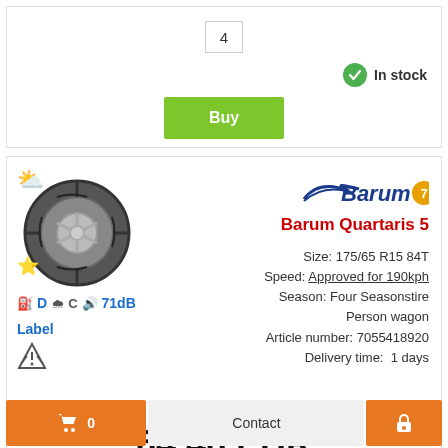4
In stock
Buy
[Figure (photo): Barum Quartaris 5 all-season tire with wheel]
Barum Quartaris 5
Size: 175/65 R15 84T
Speed: Approved for 190kph
Season: Four Seasonstire
Person wagon
Article number: 7055418920
Delivery time: 1 days
D  C  71dB
Label
64,46 EUR
each.
Funded 4 pcs from per. month.
6,96 EUR
0
Contact